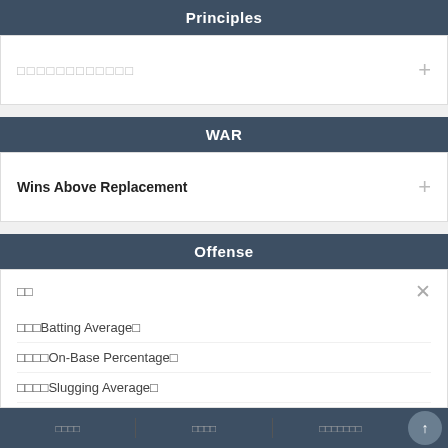Principles
□□□□□□□□□□□□
WAR
Wins Above Replacement
Offense
□□
□□□Batting Average□
□□□□On-Base Percentage□
□□□□Slugging Average□
OPS□On-base Plus Slugging□
ISO□Isolated Power□
□□□□ | □□□□ | □□□□□□□